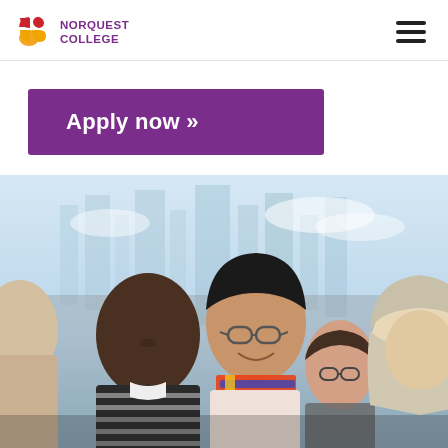NORQUEST COLLEGE
Apply now »
[Figure (photo): Group of diverse adult students engaged in a discussion, smiling and interacting, with a blurred city skyline background. Includes a man in a striped shirt, a woman with glasses smiling, a woman in a hijab, and another person partially visible.]